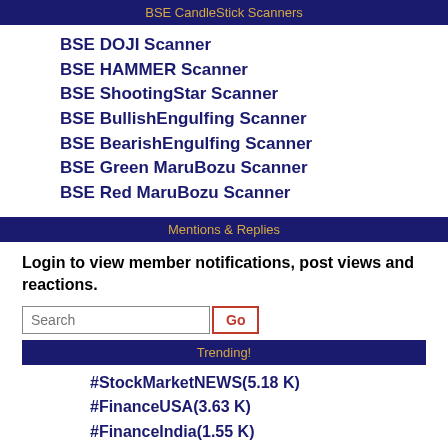BSE CandleStick Scanners
BSE DOJI Scanner
BSE HAMMER Scanner
BSE ShootingStar Scanner
BSE BullishEngulfing Scanner
BSE BearishEngulfing Scanner
BSE Green MaruBozu Scanner
BSE Red MaruBozu Scanner
Mentions & Replies
Login to view member notifications, post views and reactions.
Trending!
#StockMarketNEWS(5.18 K)
#FinanceUSA(3.63 K)
#FinanceIndia(1.55 K)
#Business(546)
#MunafaSutra(?)